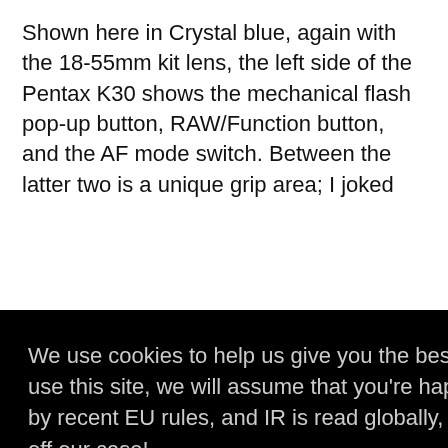Shown here in Crystal blue, again with the 18-55mm kit lens, the left side of the Pentax K30 shows the mechanical flash pop-up button, RAW/Function button, and the AF mode switch. Between the latter two is a unique grip area; I joked
We use cookies to help us give you the best experience on IR. If you continue to use this site, we will assume that you're happy with this. This notice is required by recent EU rules, and IR is read globally, so we need to keep the bureaucrats off our case! Learn more [Got it!]
grip than does the company's flagship K-5. Sadly, it doesn't